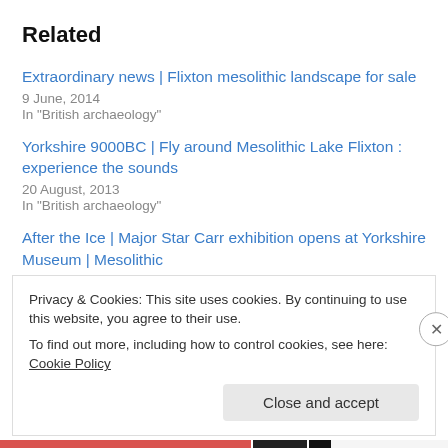Related
Extraordinary news | Flixton mesolithic landscape for sale
9 June, 2014
In "British archaeology"
Yorkshire 9000BC | Fly around Mesolithic Lake Flixton : experience the sounds
20 August, 2013
In "British archaeology"
After the Ice | Major Star Carr exhibition opens at Yorkshire Museum | Mesolithic
23 May, 2013
Privacy & Cookies: This site uses cookies. By continuing to use this website, you agree to their use.
To find out more, including how to control cookies, see here: Cookie Policy